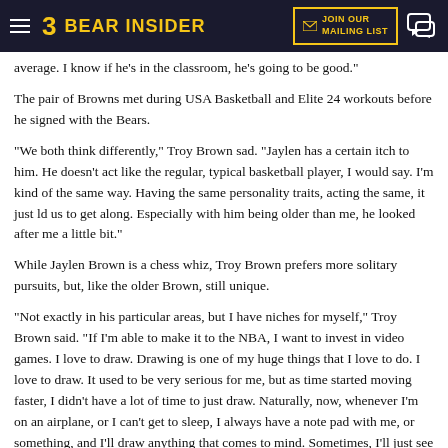BEAR INSIDER — JOIN OUR MAILING LIST
average. I know if he's in the classroom, he's going to be good."
The pair of Browns met during USA Basketball and Elite 24 workouts before he signed with the Bears.
"We both think differently," Troy Brown sad. "Jaylen has a certain itch to him. He doesn't act like the regular, typical basketball player, I would say. I'm kind of the same way. Having the same personality traits, acting the same, it just ld us to get along. Especially with him being older than me, he looked after me a little bit."
While Jaylen Brown is a chess whiz, Troy Brown prefers more solitary pursuits, but, like the older Brown, still unique.
"Not exactly in his particular areas, but I have niches for myself," Troy Brown said. "If I'm able to make it to the NBA, I want to invest in video games. I love to draw. Drawing is one of my huge things that I love to do. I love to draw. It used to be very serious for me, but as time started moving faster, I didn't have a lot of time to just draw. Naturally, now, whenever I'm on an airplane, or I can't get to sleep, I always have a note pad with me, or something, and I'll draw anything that comes to mind. Sometimes, I'll just see logos and stuff, or I'll mimic it, or landscapes, or I'll see an action shot of LeBron [James] and I'll screen